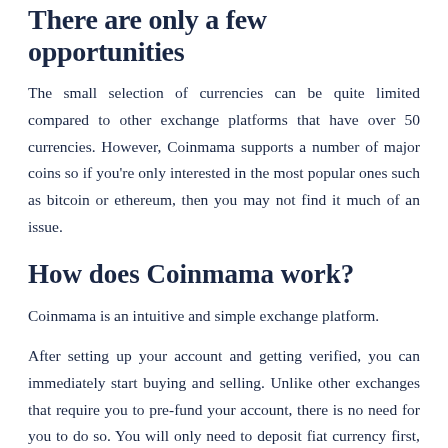There are only a few opportunities
The small selection of currencies can be quite limited compared to other exchange platforms that have over 50 currencies. However, Coinmama supports a number of major coins so if you're only interested in the most popular ones such as bitcoin or ethereum, then you may not find it much of an issue.
How does Coinmama work?
Coinmama is an intuitive and simple exchange platform.
After setting up your account and getting verified, you can immediately start buying and selling. Unlike other exchanges that require you to pre-fund your account, there is no need for you to do so. You will only need to deposit fiat currency first, then buy crypto and then transfer the funds into an external wallet.